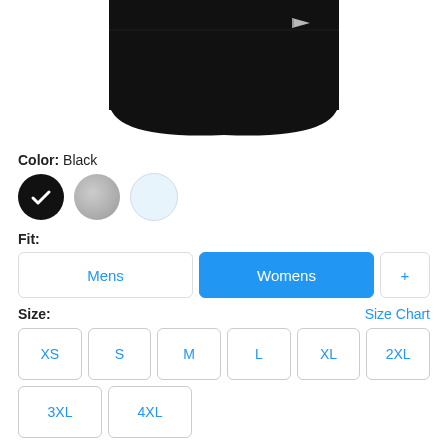[Figure (photo): Bottom portion of a black New Era t-shirt shown on white background, cropped to show the hem area with a small New Era flag logo on the right side.]
Color: Black
[Figure (other): Three color swatches: black circle with white checkmark (selected), gray circle, light blue circle.]
Fit:
Mens | Womens (selected) | +
Size:
Size Chart
XS
S
M
L
XL
2XL
3XL
4XL